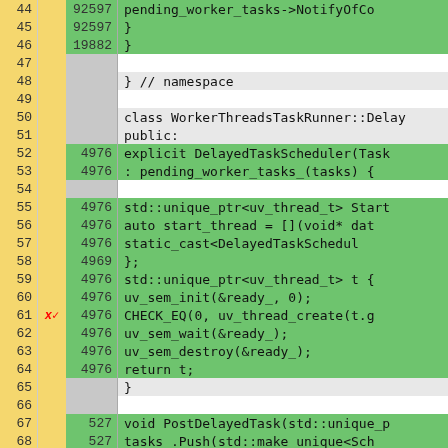[Figure (screenshot): Code coverage viewer showing C++ source code lines 44-70. Line numbers in yellow column on left, coverage counts in gray/green column in middle, source code on right with green highlighting for covered lines. Line 61 has a red X/checkmark marker. Code shows WorkerThreadsTaskRunner::DelayedTaskScheduler class implementation.]